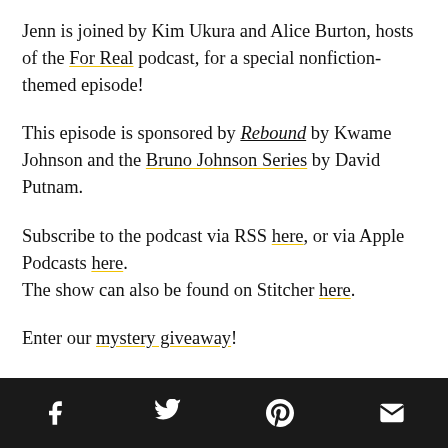Jenn is joined by Kim Ukura and Alice Burton, hosts of the For Real podcast, for a special nonfiction-themed episode!
This episode is sponsored by Rebound by Kwame Johnson and the Bruno Johnson Series by David Putnam.
Subscribe to the podcast via RSS here, or via Apple Podcasts here.
The show can also be found on Stitcher here.
Enter our mystery giveaway!
[Facebook] [Twitter] [Pinterest] [Email]